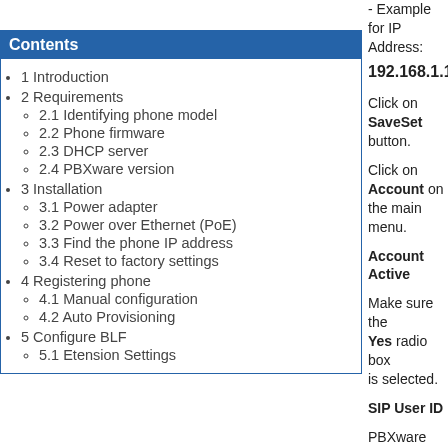- Example for IP Address:
192.168.1.10
Contents
1 Introduction
2 Requirements
2.1 Identifying phone model
2.2 Phone firmware
2.3 DHCP server
2.4 PBXware version
3 Installation
3.1 Power adapter
3.2 Power over Ethernet (PoE)
3.3 Find the phone IP address
3.4 Reset to factory settings
4 Registering phone
4.1 Manual configuration
4.2 Auto Provisioning
5 Configure BLF
5.1 Etension Settings
Click on SaveSet button.
Click on Account on the main menu.
Account Active
Make sure the Yes radio box is selected.
SIP User ID
PBXware extension